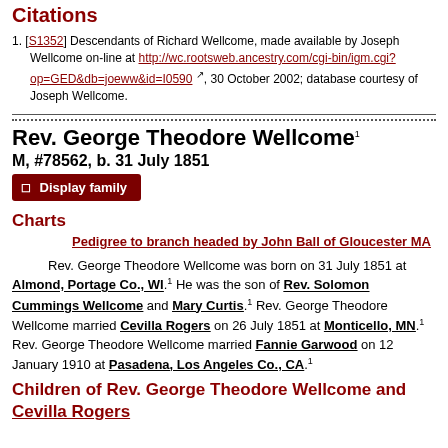Citations
[S1352] Descendants of Richard Wellcome, made available by Joseph Wellcome on-line at http://wc.rootsweb.ancestry.com/cgi-bin/igm.cgi?op=GED&db=joeww&id=I0590, 30 October 2002; database courtesy of Joseph Wellcome.
Rev. George Theodore Wellcome
M, #78562, b. 31 July 1851
Display family
Charts
Pedigree to branch headed by John Ball of Gloucester MA
Rev. George Theodore Wellcome was born on 31 July 1851 at Almond, Portage Co., WI. He was the son of Rev. Solomon Cummings Wellcome and Mary Curtis. Rev. George Theodore Wellcome married Cevilla Rogers on 26 July 1851 at Monticello, MN. Rev. George Theodore Wellcome married Fannie Garwood on 12 January 1910 at Pasadena, Los Angeles Co., CA.
Children of Rev. George Theodore Wellcome and Cevilla Rogers